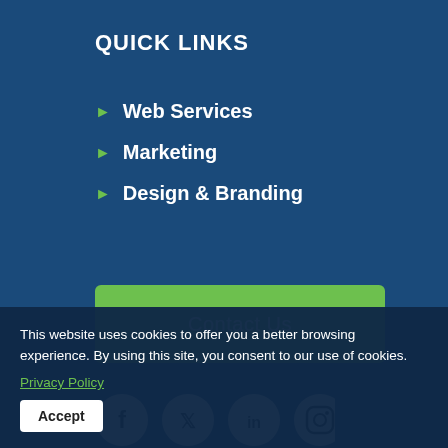QUICK LINKS
Web Services
Marketing
Design & Branding
Contact Us
[Figure (infographic): Row of four social media icons (Facebook, Twitter, LinkedIn, Instagram) as white circles on dark blue background]
This website uses cookies to offer you a better browsing experience. By using this site, you consent to our use of cookies.
Privacy Policy
Accept